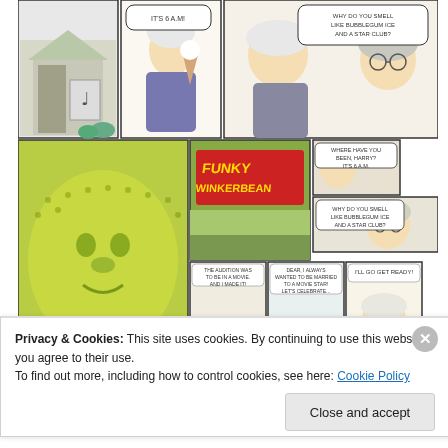[Figure (illustration): Comic strip panels showing 'Funky Winkerbean' - multiple panels depicting elderly characters, a house with musical note on garage, title card reading 'FUNKY WINKERBEAN', and scenes with speech bubbles. Bottom right panel says 'I WAS THINKING OF PIZZA' and 'THE END'.]
👍 40 👎 0 ℹ Rate This
Privacy & Cookies: This site uses cookies. By continuing to use this website, you agree to their use.
To find out more, including how to control cookies, see here: Cookie Policy
Close and accept